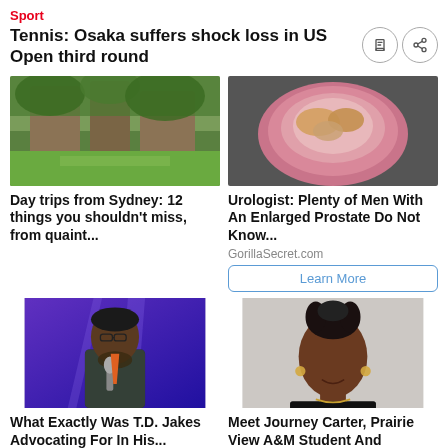Sport
Tennis: Osaka suffers shock loss in US Open third round
[Figure (photo): Outdoor garden/landscape photo for Day trips from Sydney article]
Day trips from Sydney: 12 things you shouldn't miss, from quaint...
[Figure (photo): Bowl of food/cereal product photo for Urologist article]
Urologist: Plenty of Men With An Enlarged Prostate Do Not Know...
GorillaSecret.com
Learn More
[Figure (photo): T.D. Jakes speaking on stage with microphone, purple lighting]
What Exactly Was T.D. Jakes Advocating For In His...
Blavity
Read more
[Figure (photo): Journey Carter, young woman with dreadlocks up-do, smiling]
Meet Journey Carter, Prairie View A&M Student And Fashion...
Blavity
Read more